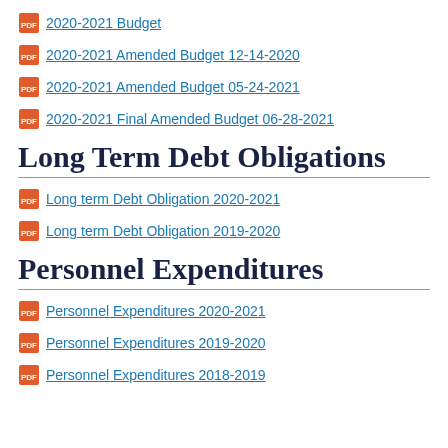2020-2021 Budget
2020-2021 Amended Budget 12-14-2020
2020-2021 Amended Budget 05-24-2021
2020-2021 Final Amended Budget 06-28-2021
Long Term Debt Obligations
Long term Debt Obligation 2020-2021
Long term Debt Obligation 2019-2020
Personnel Expenditures
Personnel Expenditures 2020-2021
Personnel Expenditures 2019-2020
Personnel Expenditures 2018-2019